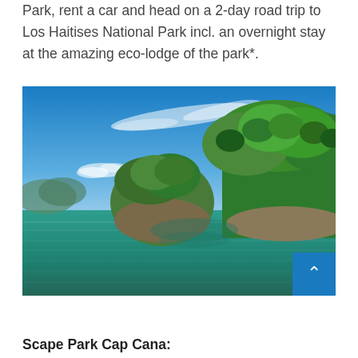Park, rent a car and head on a 2-day road trip to Los Haitises National Park incl. an overnight stay at the amazing eco-lodge of the park*.
[Figure (photo): Scenic view of Los Haitises National Park showing turquoise-green water with lush green forested limestone karst islands rising from the water under a bright blue sky with wispy clouds.]
Scape Park Cap Cana: